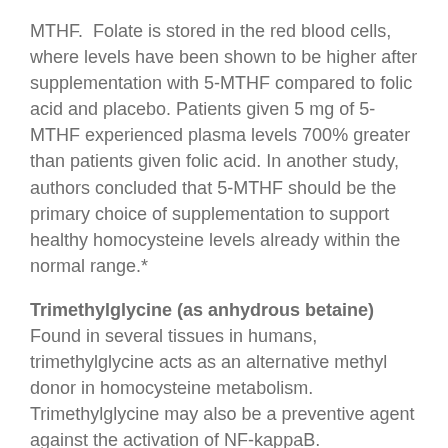MTHF. Folate is stored in the red blood cells, where levels have been shown to be higher after supplementation with 5-MTHF compared to folic acid and placebo. Patients given 5 mg of 5-MTHF experienced plasma levels 700% greater than patients given folic acid. In another study, authors concluded that 5-MTHF should be the primary choice of supplementation to support healthy homocysteine levels already within the normal range.*
Trimethylglycine (as anhydrous betaine) Found in several tissues in humans, trimethylglycine acts as an alternative methyl donor in homocysteine metabolism. Trimethylglycine may also be a preventive agent against the activation of NF-kappaB.
Vitamin B12 (as methylcobalamin) Cyanocobalamin (the form of B12 present in many supplements) has to be